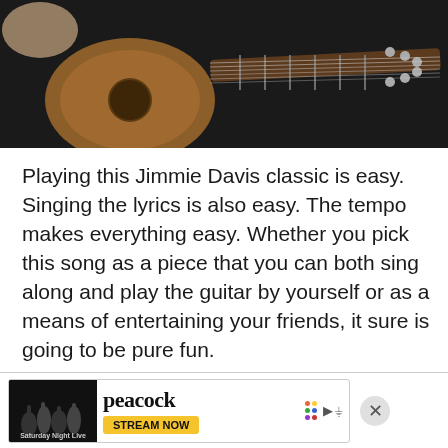[Figure (photo): Person playing an acoustic guitar, close-up shot on dark background showing guitar body and fretboard]
Playing this Jimmie Davis classic is easy. Singing the lyrics is also easy. The tempo makes everything easy. Whether you pick this song as a piece that you can both sing along and play the guitar by yourself or as a means of entertaining your friends, it sure is going to be pure fun.
Written in 1939 and recorded many times...decades...real
[Figure (screenshot): Peacock streaming service advertisement banner featuring Saturday Night Live with Stream Now button]